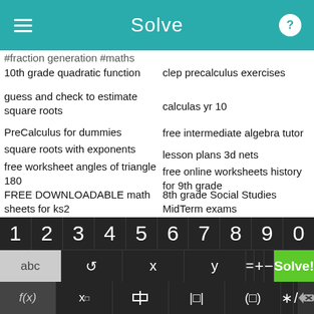Solve
#fraction generation #maths
10th grade quadratic function
clep precalculus exercises
guess and check to estimate square roots
calculas yr 10
PreCalculus for dummies
free intermediate algebra tutor
square roots with exponents
lesson plans 3d nets
free worksheet angles of triangle 180
free online worksheets history for 9th grade
FREE DOWNLOADABLE math sheets for ks2
8th grade Social Studies MidTerm exams
[Figure (screenshot): Mobile calculator keyboard with digits 1-0, operator keys including ., comma, <, >, ≤, ≥, x^□, √, backspace arrows, f(x), x□, fraction, absolute value, brackets, *, /, delete, abc, rotate, x, y, =, +, -, and Solve! button]